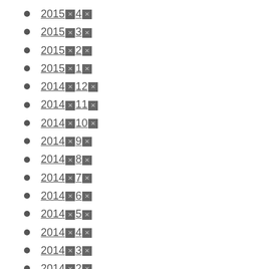2015年4月
2015年3月
2015年2月
2015年1月
2014年12月
2014年11月
2014年10月
2014年9月
2014年8月
2014年7月
2014年6月
2014年5月
2014年4月
2014年3月
2014年2月
2014年1月
2013年12月